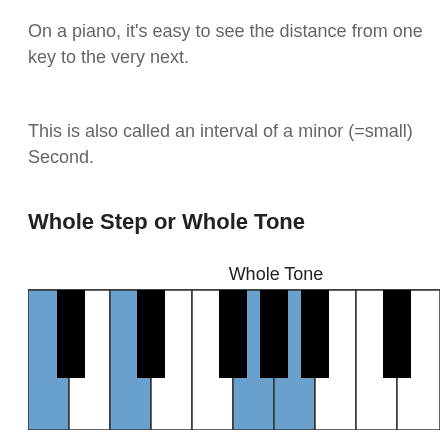On a piano, it's easy to see the distance from one key to the very next.
This is also called an interval of a minor (=small) Second.
Whole Step or Whole Tone
[Figure (illustration): Piano keyboard diagram showing a whole tone interval, with two blue-highlighted keys and black keys visible. Label 'Whole Tone' appears above the keyboard.]